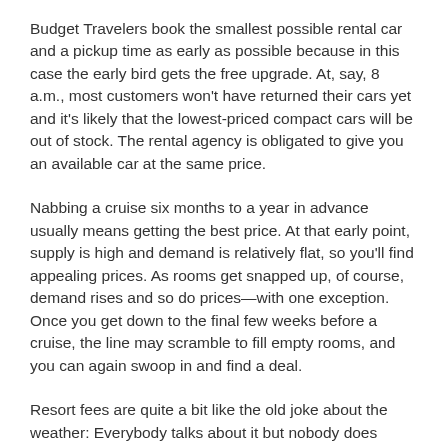Budget Travelers book the smallest possible rental car and a pickup time as early as possible because in this case the early bird gets the free upgrade. At, say, 8 a.m., most customers won't have returned their cars yet and it's likely that the lowest-priced compact cars will be out of stock. The rental agency is obligated to give you an available car at the same price.
Nabbing a cruise six months to a year in advance usually means getting the best price. At that early point, supply is high and demand is relatively flat, so you'll find appealing prices. As rooms get snapped up, of course, demand rises and so do prices—with one exception. Once you get down to the final few weeks before a cruise, the line may scramble to fill empty rooms, and you can again swoop in and find a deal.
Resort fees are quite a bit like the old joke about the weather: Everybody talks about it but nobody does anything about it. The reality is, there's not much you can do if you've already spent your week at an all-inclusive resort and are staring at a bill that includes a hefty resort fee (which typically covers things you thought were free—those comfy poolside towels, the wi-fi in your room, the newspaper delivered to your door). The only thing you can do